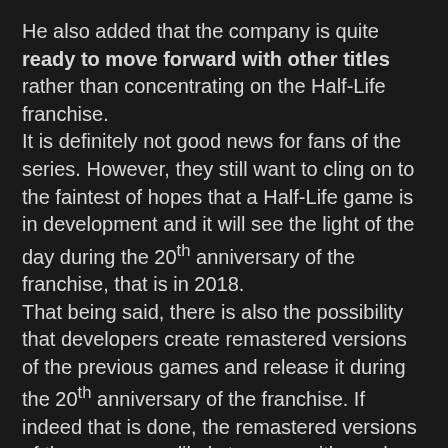He also added that the company is quite ready to move forward with other titles rather than concentrating on the Half-Life franchise.
It is definitely not good news for fans of the series. However, they still want to cling on to the faintest of hopes that a Half-Life game is in development and it will see the light of the day during the 20th anniversary of the franchise, that is in 2018.
That being said, there is also the possibility that developers create remastered versions of the previous games and release it during the 20th anniversary of the franchise. If indeed that is done, the remastered versions of the games are likely to come with much better graphics than their original versions.
The advancement in technology will enable the